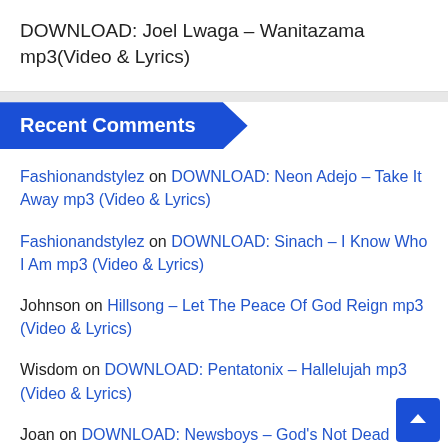DOWNLOAD: Joel Lwaga – Wanitazama mp3(Video & Lyrics)
Recent Comments
Fashionandstylez on DOWNLOAD: Neon Adejo – Take It Away mp3 (Video & Lyrics)
Fashionandstylez on DOWNLOAD: Sinach – I Know Who I Am mp3 (Video & Lyrics)
Johnson on Hillsong – Let The Peace Of God Reign mp3 (Video & Lyrics)
Wisdom on DOWNLOAD: Pentatonix – Hallelujah mp3 (Video & Lyrics)
Joan on DOWNLOAD: Newsboys – God's Not Dead mp3/mp4 (Video & Lyrics)